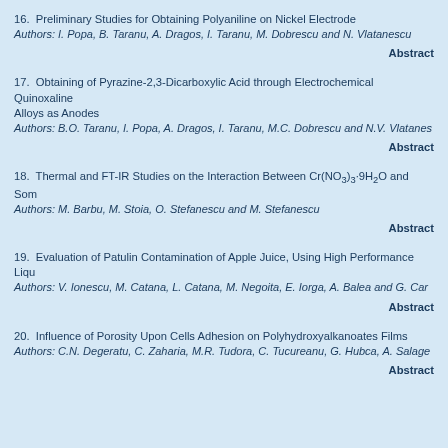16.  Preliminary Studies for Obtaining Polyaniline on Nickel Electrode
Authors: I. Popa, B. Taranu, A. Dragos, I. Taranu, M. Dobrescu and N. Vlatanescu
Abstract
17.  Obtaining of Pyrazine-2,3-Dicarboxylic Acid through Electrochemical Quinoxaline Alloys as Anodes
Authors: B.O. Taranu, I. Popa, A. Dragos, I. Taranu, M.C. Dobrescu and N.V. Vlatanes
Abstract
18.  Thermal and FT-IR Studies on the Interaction Between Cr(NO3)3·9H2O and Som
Authors: M. Barbu, M. Stoia, O. Stefanescu and M. Stefanescu
Abstract
19.  Evaluation of Patulin Contamination of Apple Juice, Using High Performance Liq
Authors: V. Ionescu, M. Catana, L. Catana, M. Negoita, E. Iorga, A. Balea and G. Car
Abstract
20.  Influence of Porosity Upon Cells Adhesion on Polyhydroxyalkanoates Films
Authors: C.N. Degeratu, C. Zaharia, M.R. Tudora, C. Tucureanu, G. Hubca, A. Salage
Abstract